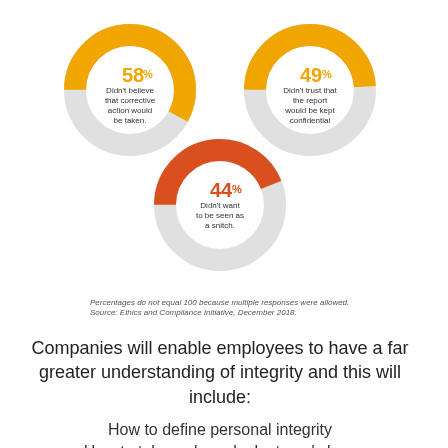[Figure (donut-chart): Reasons employees didn't report misconduct]
Percentages do not equal 100 because multiple responses were allowed.
Source: Ethics and Compliance Initiative, December 2018.
Companies will enable employees to have a far greater understanding of integrity and this will include:
How to define personal integrity
How to take a closer look at one's level of integrity